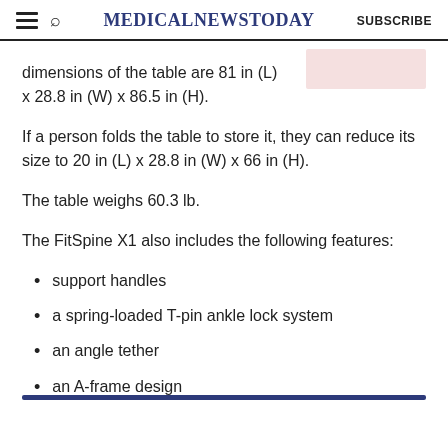MedicalNewsToday | SUBSCRIBE
dimensions of the table are 81 in (L) x 28.8 in (W) x 86.5 in (H).
If a person folds the table to store it, they can reduce its size to 20 in (L) x 28.8 in (W) x 66 in (H).
The table weighs 60.3 lb.
The FitSpine X1 also includes the following features:
support handles
a spring-loaded T-pin ankle lock system
an angle tether
an A-frame design